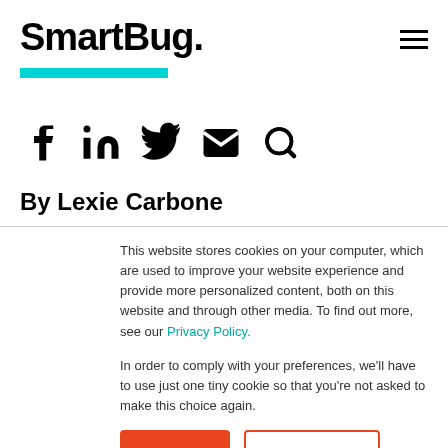SmartBug.
[Figure (other): Cyan/teal decorative horizontal bar]
[Figure (other): Social media icons: Facebook, LinkedIn, Twitter, Email, Search]
By Lexie Carbone
This website stores cookies on your computer, which are used to improve your website experience and provide more personalized content, both on this website and through other media. To find out more, see our Privacy Policy.
In order to comply with your preferences, we'll have to use just one tiny cookie so that you're not asked to make this choice again.
Accept | No Thanks